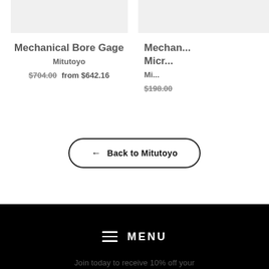[Figure (screenshot): Product image placeholder for Mechanical Bore Gage (light gray rectangle)]
Mechanical Bore Gage
Mitutoyo
$704.00  from $642.16
[Figure (screenshot): Partial product image placeholder (light gray rectangle, partially cropped)]
Mechan... Micr...
Mi...
$198.00
← Back to Mitutoyo
MENU
Join today to receive 10% off your